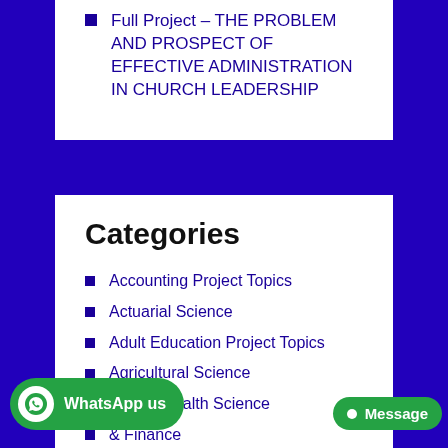Full Project – THE PROBLEM AND PROSPECT OF EFFECTIVE ADMINISTRATION IN CHURCH LEADERSHIP
Categories
Accounting Project Topics
Actuarial Science
Adult Education Project Topics
Agricultural Science
Animal Health Science
& Finance
Basic Science